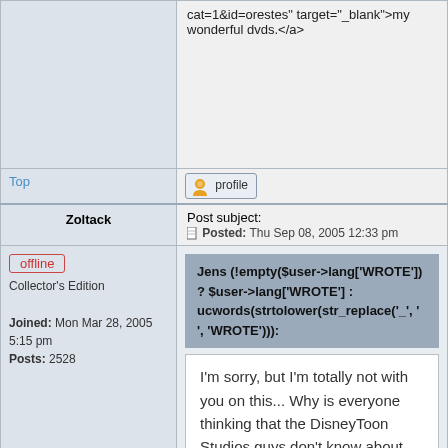cat=1&id=orestes" target="_blank">my wonderful dvds.</a>
Top
[Figure (screenshot): Profile button with user icon]
Zoltack
Post subject:
☐ Posted: Thu Sep 08, 2005 12:33 pm
offline
Collector's Edition
Joined: Mon Mar 28, 2005 5:15 pm
Posts: 2528
Jens (!empty($user->lang['WROTE']) ? $user->lang['WROTE'] : ucwords(strtolower(str_replace('_', ' ', 'WROTE')))):
I'm sorry, but I'm totally not with you on this... Why is everyone thinking that the DisneyToon Studios guys don't know about the original Bambi movie? I mean, just look at the preview on the Bambi DVD and you'll hear from Andreas Deja that they really wanted Walt to be proud of this midquel...